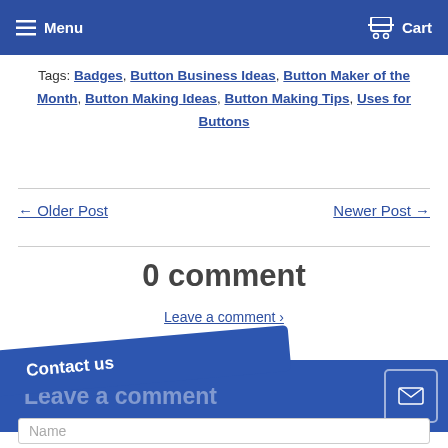Menu  Cart
Tags: Badges, Button Business Ideas, Button Maker of the Month, Button Making Ideas, Button Making Tips, Uses for Buttons
← Older Post   Newer Post →
0 comment
Leave a comment ›
Contact us
Leave a comment
Name